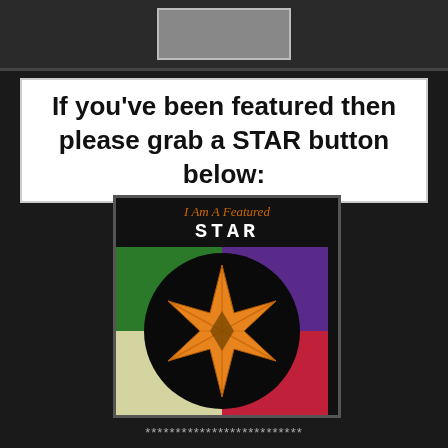[Figure (photo): Top strip with a small image/photo placeholder on dark background]
If you've been featured then please grab a STAR button below:
[Figure (illustration): I Am A Featured STAR badge with colorful quadrant background, black circle, and orange 8-pointed star illustration]
**************************